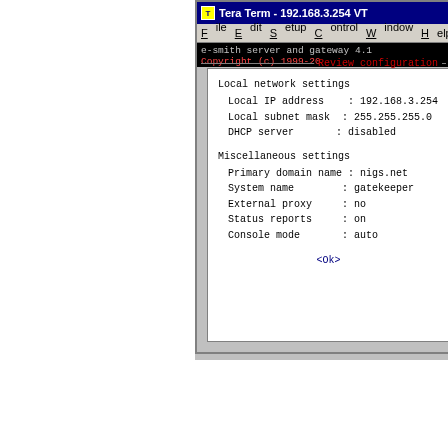Tera Term - 192.168.3.254 VT
Review configuration
Local network settings
Local IP address   : 192.168.3.254
Local subnet mask  : 255.255.255.0
DHCP server        : disabled
Miscellaneous settings
Primary domain name : nigs.net
System name         : gatekeeper
External proxy      : no
Status reports      : on
Console mode        : auto
<Ok>